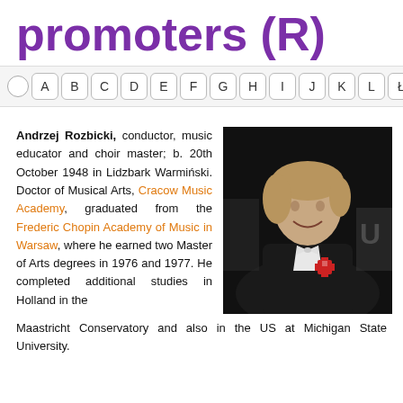promoters (R)
○ A B C D E F G H I J K L Ł M N
Andrzej Rozbicki, conductor, music educator and choir master; b. 20th October 1948 in Lidzbark Warmiński. Doctor of Musical Arts, Cracow Music Academy, graduated from the Frederic Chopin Academy of Music in Warsaw, where he earned two Master of Arts degrees in 1976 and 1977. He completed additional studies in Holland in the Maastricht Conservatory and also in the US at Michigan State University.
[Figure (photo): Portrait photo of Andrzej Rozbicki, a man in formal black tuxedo with white bow tie and a red cross medal, smiling, with orchestra musicians in the background.]